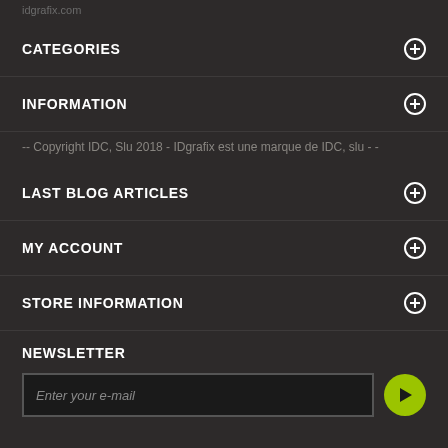idgrafix.com
CATEGORIES
INFORMATION
-- Copyright IDC, Slu 2018 - IDgrafix est une marque de IDC, slu - -
LAST BLOG ARTICLES
MY ACCOUNT
STORE INFORMATION
NEWSLETTER
Enter your e-mail